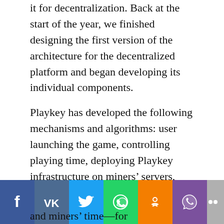it for decentralization. Back at the start of the year, we finished designing the first version of the architecture for the decentralized platform and began developing its individual components.
Playkey has developed the following mechanisms and algorithms: user launching the game, controlling playing time, deploying Playkey infrastructure on miners' servers, mining software and more. We managed to automate some of these and miners' time—for